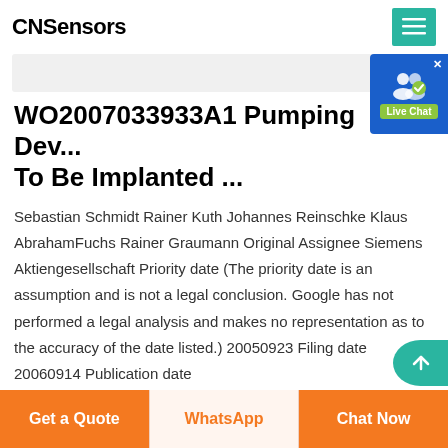CNSensors
WO2007033933A1 Pumping Dev... To Be Implanted ...
Sebastian Schmidt Rainer Kuth Johannes Reinschke Klaus AbrahamFuchs Rainer Graumann Original Assignee Siemens Aktiengesellschaft Priority date (The priority date is an assumption and is not a legal conclusion. Google has not performed a legal analysis and makes no representation as to the accuracy of the date listed.) 20050923 Filing date 20060914 Publication date 20070329 20050923
Get a Quote   WhatsApp   Chat Now